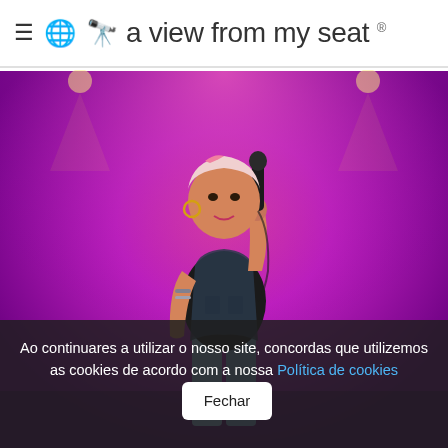a view from my seat ®
[Figure (photo): Concert photo: A female singer performing on stage with a bright purple/magenta background. She is holding a microphone, wearing a black top with a denim vest and jeans, with bleached/pink hair.]
Ao continuares a utilizar o nosso site, concordas que utilizemos as cookies de acordo com a nossa Política de cookies  Fechar